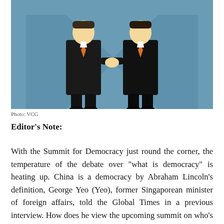[Figure (illustration): Cartoon illustration of two men in dark suits with orange ties shaking hands against a blue background with geometric shapes suggesting a meeting room or doors.]
Photo: VCG
Editor's Note:
With the Summit for Democracy just round the corner, the temperature of the debate over "what is democracy" is heating up. China is a democracy by Abraham Lincoln's definition, George Yeo (Yeo), former Singaporean minister of foreign affairs, told the Global Times in a previous interview. How does he view the upcoming summit on who's in and who's out? What is his comment on Singapore not being invited by the